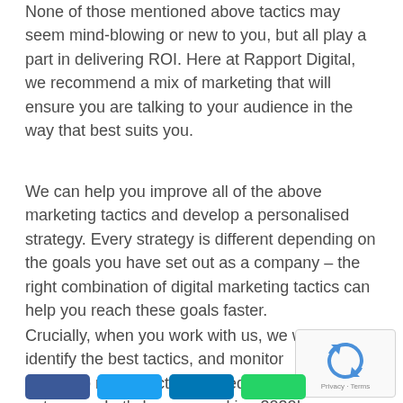None of those mentioned above tactics may seem mind-blowing or new to you, but all play a part in delivering ROI. Here at Rapport Digital, we recommend a mix of marketing that will ensure you are talking to your audience in the way that best suits you.
We can help you improve all of the above marketing tactics and develop a personalised strategy. Every strategy is different depending on the goals you have set out as a company – the right combination of digital marketing tactics can help you reach these goals faster.
Crucially, when you work with us, we will identify the best tactics, and monitor results to modify activity based on outcomes. Let's have a cracking 2020!